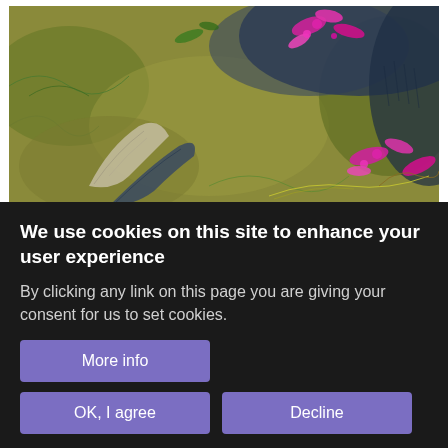[Figure (photo): Close-up photograph of colorful textile/embroidery artwork featuring felted and stitched fibers in green, pink, blue, and yellow tones on a natural background.]
Marion Steele - Steelecolours
By clicking any link on this page you are giving your consent for us to set cookies.
We use cookies on this site to enhance your user experience